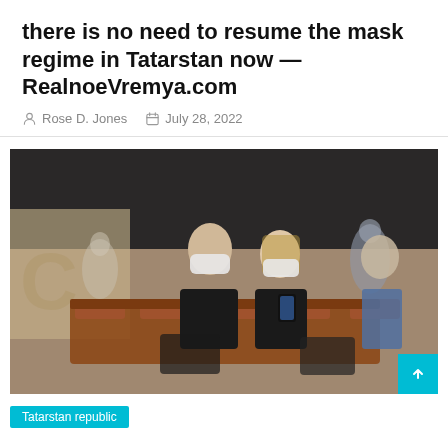there is no need to resume the mask regime in Tatarstan now — RealnoeVremya.com
Rose D. Jones   July 28, 2022
[Figure (photo): People wearing face masks sitting in airport departure lounge chairs, looking at their phones]
Tatarstan republic